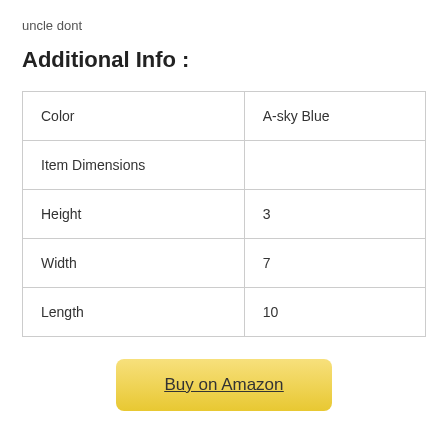uncle dont
Additional Info :
| Color | A-sky Blue |
| Item Dimensions |  |
| Height | 3 |
| Width | 7 |
| Length | 10 |
Buy on Amazon